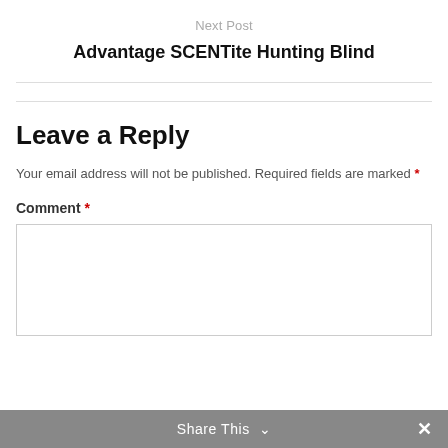Next Post
Advantage SCENTite Hunting Blind
Leave a Reply
Your email address will not be published. Required fields are marked *
Comment *
Share This ∨  ✕